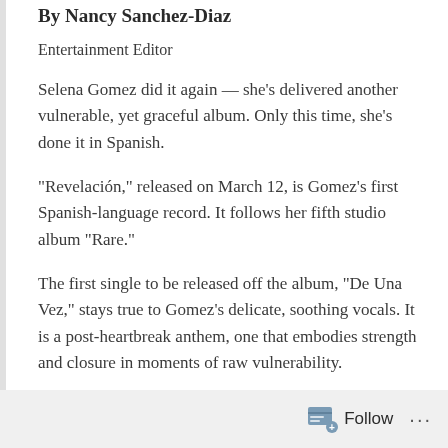By Nancy Sanchez-Diaz
Entertainment Editor
Selena Gomez did it again — she's delivered another vulnerable, yet graceful album. Only this time, she's done it in Spanish.
“Revelación,” released on March 12, is Gomez’s first Spanish-language record. It follows her fifth studio album “Rare.”
The first single to be released off the album, “De Una Vez,” stays true to Gomez’s delicate, soothing vocals. It is a post-heartbreak anthem, one that embodies strength and closure in moments of raw vulnerability.
While “Rare” delved into heartbreak and the